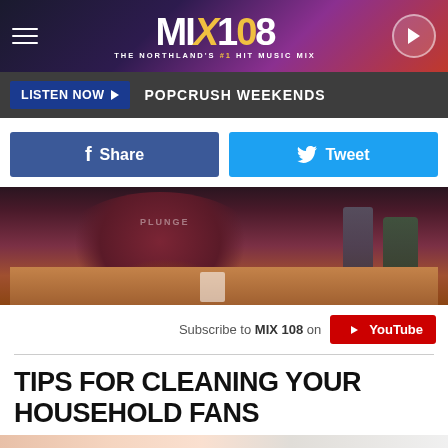MIX 108 — THE NORTHLAND'S #1 HIT MUSIC MIX
LISTEN NOW ▶  POPCRUSH WEEKENDS
f Share   🐦 Tweet
[Figure (photo): Person in maroon hoodie sitting at a desk]
Subscribe to MIX 108 on YouTube
TIPS FOR CLEANING YOUR HOUSEHOLD FANS
[Figure (photo): Bottom partial image strip, light peach/beige tones]